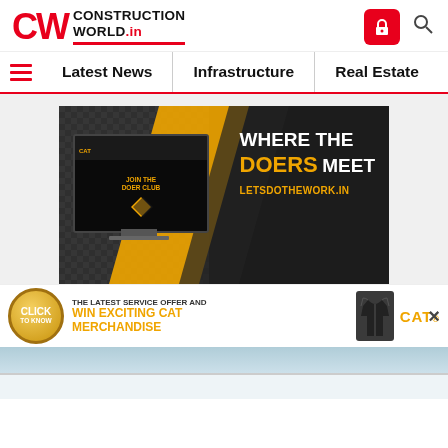[Figure (logo): CW Construction World.in logo in red and black]
Latest News | Infrastructure | Real Estate
[Figure (infographic): CAT Doer Club banner ad: WHERE THE DOERS MEET - LETSDOTHEWORK.IN with a computer monitor showing the website]
[Figure (infographic): CAT advertisement bar: CLICK TO KNOW - THE LATEST SERVICE OFFER AND WIN EXCITING CAT MERCHANDISE with CAT logo and jacket image]